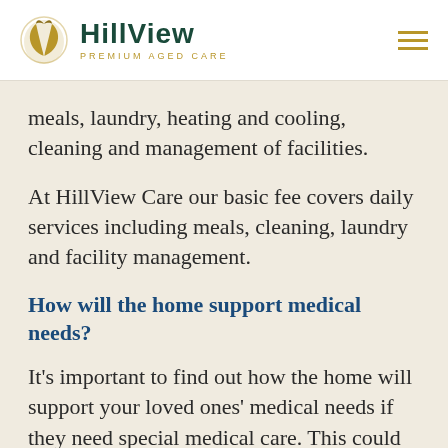HillView Premium Aged Care
meals, laundry, heating and cooling, cleaning and management of facilities.
At HillView Care our basic fee covers daily services including meals, cleaning, laundry and facility management.
How will the home support medical needs?
It's important to find out how the home will support your loved ones' medical needs if they need special medical care. This could